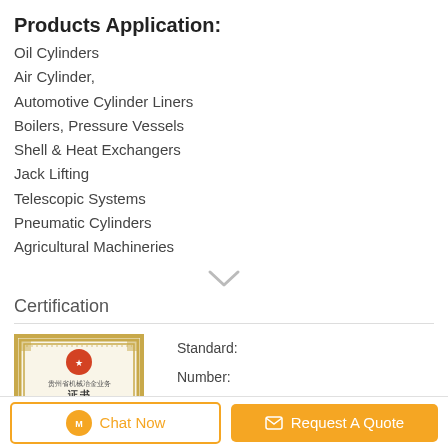Products Application:
Oil Cylinders
Air Cylinder,
Automotive Cylinder Liners
Boilers, Pressure Vessels
Shell & Heat Exchangers
Jack Lifting
Telescopic Systems
Pneumatic Cylinders
Agricultural Machineries
Certification
[Figure (photo): Certificate document with ornate gold border, Chinese text, red seal/stamp visible]
Standard:
Number:
Issue Date:
Expiry Date:
Scope/Range:
Issued By:
Chat Now | Request A Quote